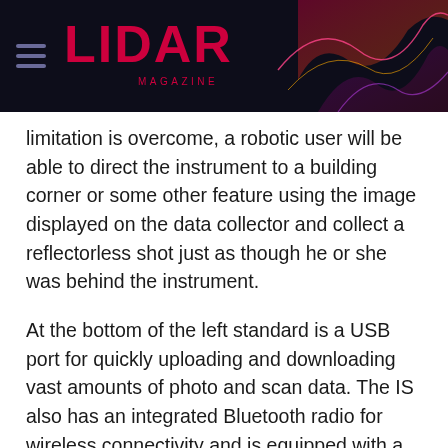LIDAR MAGAZINE
limitation is overcome, a robotic user will be able to direct the instrument to a building corner or some other feature using the image displayed on the data collector and collect a reflectorless shot just as though he or she was behind the instrument.
At the bottom of the left standard is a USB port for quickly uploading and downloading vast amounts of photo and scan data. The IS also has an integrated Bluetooth radio for wireless connectivity and is equipped with a built-in optical plummet.